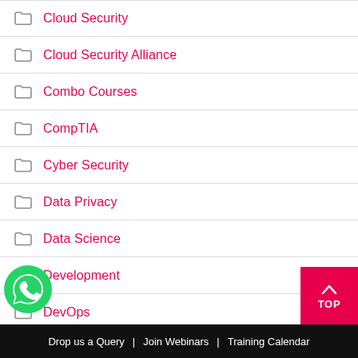Cloud Security
Cloud Security Alliance
Combo Courses
CompTIA
Cyber Security
Data Privacy
Data Science
Development
DevOps
EC Council
General
Drop us a Query  |  Join Webinars  |  Training Calendar